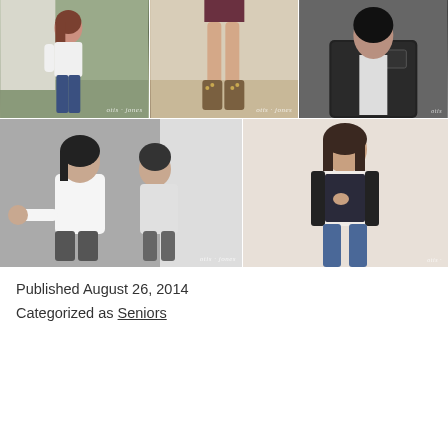[Figure (photo): Grid of 5 senior portrait photos. Top row: 3 photos side by side showing young women in outdoor/indoor settings with 'otis jones' watermarks. Bottom row: 2 photos side by side, left is black and white showing two young women sitting with reflection, right shows a young woman in jeans and jacket. All have 'otis jones' or 'otis' watermarks.]
Published August 26, 2014
Categorized as Seniors